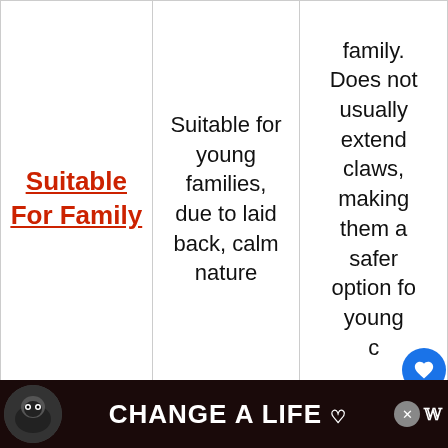|  | Ragdoll | Maine Coon |
| --- | --- | --- |
| Suitable For Family | Suitable for young families, due to laid back, calm nature | ...young family. Does not usually extend claws, making them a safer option for young c[hildren] |
|  | Males are... | Can be shy...und... |
[Figure (other): Advertisement banner: 'CHANGE A LIFE' with dog image, heart icon, close button]